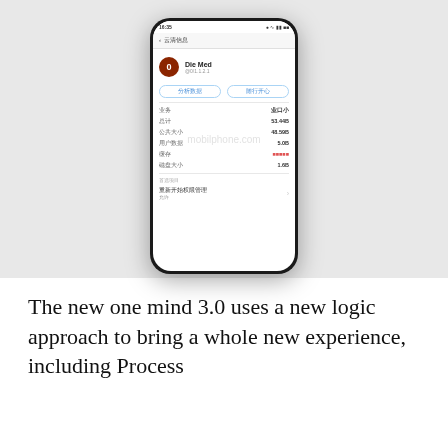[Figure (screenshot): A smartphone displaying a Chinese mobile app screen with user profile information, showing storage details and usage statistics. The phone sits against a light gray background. A faint watermark is visible across the image.]
The new one mind 3.0 uses a new logic approach to bring a whole new experience, including Process